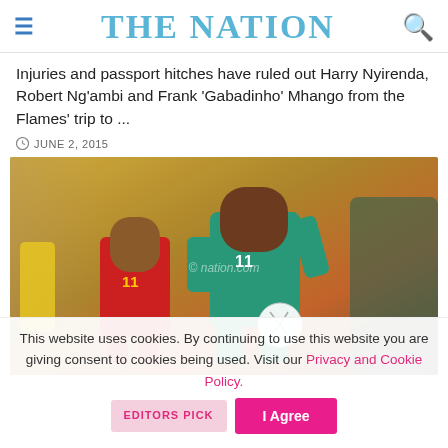THE NATION
Injuries and passport hitches have ruled out Harry Nyirenda, Robert Ng'ambi and Frank 'Gabadinho' Mhango from the Flames' trip to ...
JUNE 2, 2015
[Figure (photo): Two soccer players competing for the ball during a match. Player in red jersey with number 11 battles against player in teal/green jersey with number 11. Match appears to be played on a yellow/gold pitch background.]
This website uses cookies. By continuing to use this website you are giving consent to cookies being used. Visit our Privacy and Cookie Policy.